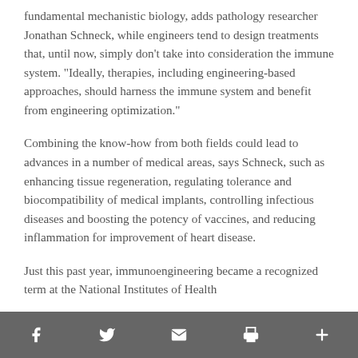fundamental mechanistic biology, adds pathology researcher Jonathan Schneck, while engineers tend to design treatments that, until now, simply don’t take into consideration the immune system. “Ideally, therapies, including engineering-based approaches, should harness the immune system and benefit from engineering optimization.”
Combining the know-how from both fields could lead to advances in a number of medical areas, says Schneck, such as enhancing tissue regeneration, regulating tolerance and biocompatibility of medical implants, controlling infectious diseases and boosting the potency of vaccines, and reducing inflammation for improvement of heart disease.
Just this past year, immunoengineering became a recognized term at the National Institutes of Health
Facebook Twitter Email Print More